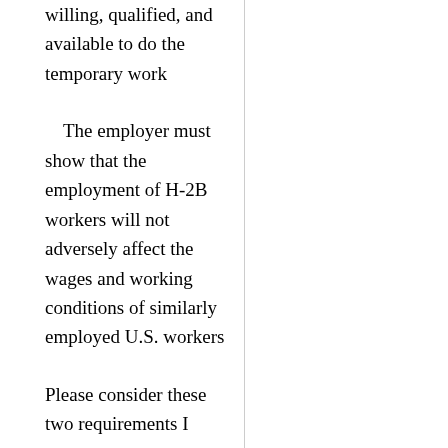willing, qualified, and available to do the temporary work
The employer must show that the employment of H-2B workers will not adversely affect the wages and working conditions of similarly employed U.S. workers
Please consider these two requirements I